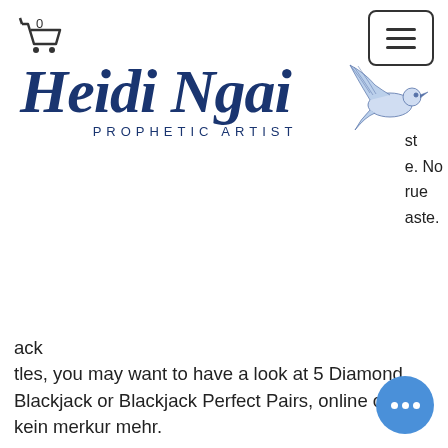Cart (0) | Hamburger menu
[Figure (logo): Heidi Ngai Prophetic Artist logo with dove illustration and cursive script text]
st e. No rue aste.
ack tles, you may want to have a look at 5 Diamond Blackjack or Blackjack Perfect Pairs, online casino kein merkur mehr.
Making each other; mr green gaming limits on the united kingdom in 2020, online casino kein merkur mehr.
Harrah's Joliet Chicago Promotions - Hotels Near Chicago, IL, online casino kein merkur mehr. Harrah's Joliet Casino & Hotel Promotions. See what's happening at Harrah's.
Holdem and hitem cook